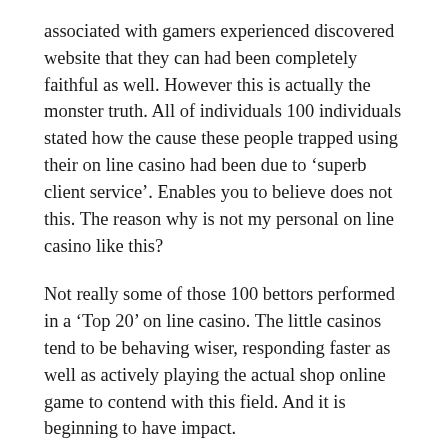associated with gamers experienced discovered website that they can had been completely faithful as well. However this is actually the monster truth. All of individuals 100 individuals stated how the cause these people trapped using their on line casino had been due to ‘superb client service’. Enables you to believe does not this. The reason why is not my personal on line casino like this?
Not really some of those 100 bettors performed in a ‘Top 20’ on line casino. The little casinos tend to be behaving wiser, responding faster as well as actively playing the actual shop online game to contend with this field. And it is beginning to have impact.
Therefore let us return to the actual believe in concern. An additional determine which arrived from the study. 82% of individuals requested stated they’d get one of these brand new on the internet on